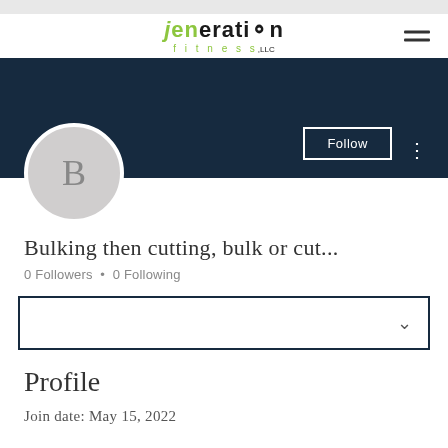[Figure (logo): JENeration Fitness LLC logo with green and dark text]
[Figure (screenshot): User profile cover banner in dark navy blue with Follow button and three-dot menu]
[Figure (illustration): Circular avatar with letter B on light grey background]
Bulking then cutting, bulk or cut...
0 Followers • 0 Following
[Figure (other): Dropdown selector box with chevron]
Profile
Join date: May 15, 2022